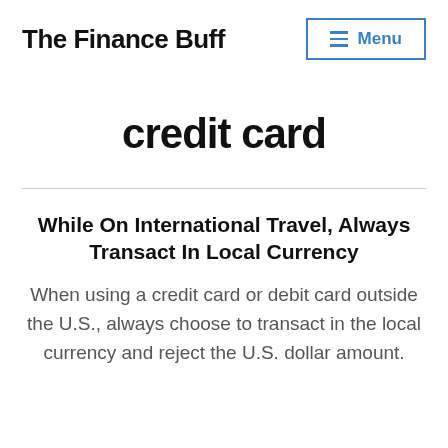The Finance Buff
credit card
While On International Travel, Always Transact In Local Currency
When using a credit card or debit card outside the U.S., always choose to transact in the local currency and reject the U.S. dollar amount.